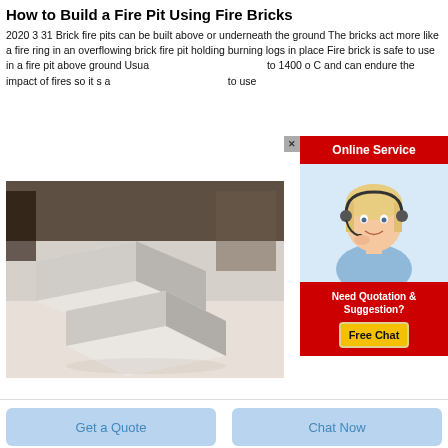How to Build a Fire Pit Using Fire Bricks
2020 3 31 Brick fire pits can be built above or underneath the ground The bricks act more like a fire ring in an overflowing brick fire pit holding burning logs in place Fire brick is safe to use in a fire pit above ground Usually these bricks are fired up to 1400 o C and can endure the impact of fires so it s a to use
[Figure (photo): White fire bricks stacked on a light-colored surface]
[Figure (photo): Online Service advertisement with woman wearing headset, red background, 'Need Quotation & Suggestion? Free Chat' button]
Get a Quote
Chat Now